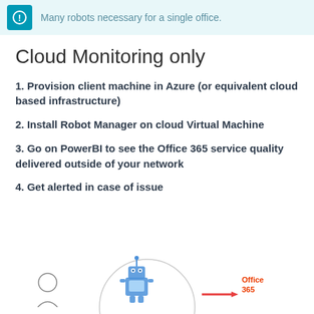Many robots necessary for a single office.
Cloud Monitoring only
1. Provision client machine in Azure (or equivalent cloud based infrastructure)
2. Install Robot Manager on cloud Virtual Machine
3. Go on PowerBI to see the Office 365 service quality delivered outside of your network
4. Get alerted in case of issue
[Figure (illustration): Diagram showing a person icon on the left, a robot/computer icon in the center within a circle, and Office 365 logo on the right with a connecting line]